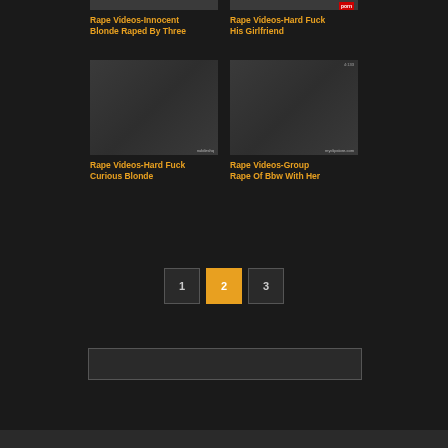[Figure (screenshot): Partial top thumbnail 1 - cropped video thumbnail]
[Figure (screenshot): Partial top thumbnail 2 - cropped video thumbnail]
Rape Videos-Innocent Blonde Raped By Three
Rape Videos-Hard Fuck His Girlfriend
[Figure (screenshot): Video thumbnail - Hard Fuck Curious Blonde]
[Figure (screenshot): Video thumbnail - Group Rape Of Bbw With Her]
Rape Videos-Hard Fuck Curious Blonde
Rape Videos-Group Rape Of Bbw With Her
1
2
3